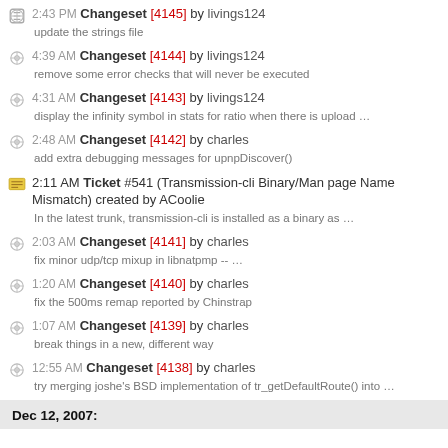2:43 PM Changeset [4145] by livings124 — update the strings file
4:39 AM Changeset [4144] by livings124 — remove some error checks that will never be executed
4:31 AM Changeset [4143] by livings124 — display the infinity symbol in stats for ratio when there is upload …
2:48 AM Changeset [4142] by charles — add extra debugging messages for upnpDiscover()
2:11 AM Ticket #541 (Transmission-cli Binary/Man page Name Mismatch) created by ACoolie — In the latest trunk, transmission-cli is installed as a binary as …
2:03 AM Changeset [4141] by charles — fix minor udp/tcp mixup in libnatpmp -- …
1:20 AM Changeset [4140] by charles — fix the 500ms remap reported by Chinstrap
1:07 AM Changeset [4139] by charles — break things in a new, different way
12:55 AM Changeset [4138] by charles — try merging joshe's BSD implementation of tr_getDefaultRoute() into …
Dec 12, 2007: